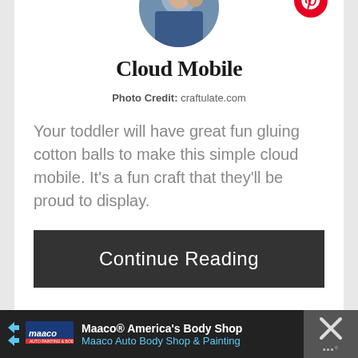[Figure (photo): Circular profile photo showing a person in blue graduation robes with a cat, partially cropped at top]
Cloud Mobile
Photo Credit: craftulate.com
Your toddler will have great fun gluing cotton balls to make this simple cloud mobile. It's a fun craft that they'll be proud to display.
Continue Reading
Maaco® America's Body Shop Maaco Auto Body Shop & Painting